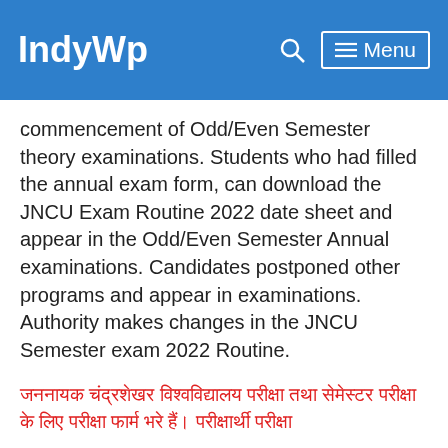IndyWp  🔍  ☰ Menu
commencement of Odd/Even Semester theory examinations. Students who had filled the annual exam form, can download the JNCU Exam Routine 2022 date sheet and appear in the Odd/Even Semester Annual examinations. Candidates postponed other programs and appear in examinations. Authority makes changes in the JNCU Semester exam 2022 Routine.
[Hindi text in red regarding JNCU Semester exam routine information]